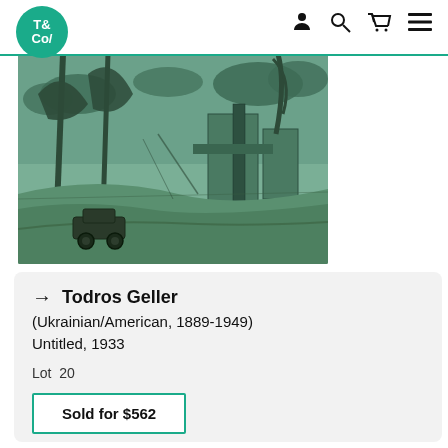T&Co/ navigation header with logo and icons
[Figure (illustration): Artwork by Todros Geller — a dark green toned drawing/painting of a landscape scene with trees, buildings, and an early automobile in the foreground.]
→ Todros Geller
(Ukrainian/American, 1889-1949)
Untitled, 1933
Lot  20
Sold for $562